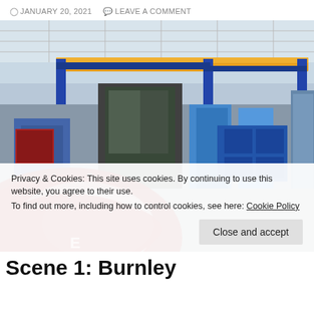JANUARY 20, 2021   LEAVE A COMMENT
[Figure (photo): Interior of an industrial manufacturing facility showing overhead cranes, large machinery, blue equipment racks, and a blurred metallic component in the foreground.]
Privacy & Cookies: This site uses cookies. By continuing to use this website, you agree to their use.
To find out more, including how to control cookies, see here: Cookie Policy
Scene 1: Burnley